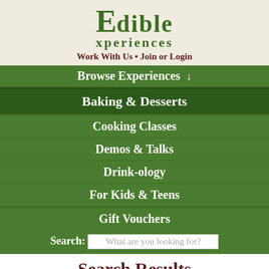[Figure (logo): Edible Experiences logo with stylized fork-and-spoon E, green text reading 'Edible Experiences', subtitle 'Work With Us • Join or Login']
Browse Experiences ↓
Baking & Desserts
Cooking Classes
Demos & Talks
Drink-ology
For Kids & Teens
Gift Vouchers
Search: What are you looking for?
Search Results
"Vegan"